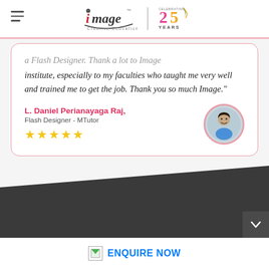Image Creative Education – 25 Years
a Flash Designer. Thank a lot to Image institute, especially to my faculties who taught me very well and trained me to get the job. Thank you so much Image."
L. Daniel Perianayaga Raj, Flash Designer - MTutor ★★★★★
[Figure (other): Dark diagonal section with chevron down button]
ENQUIRE NOW